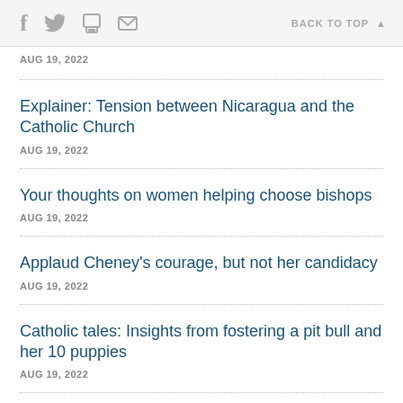f  [twitter]  [print]  [mail]   BACK TO TOP ▲
AUG 19, 2022
Explainer: Tension between Nicaragua and the Catholic Church
AUG 19, 2022
Your thoughts on women helping choose bishops
AUG 19, 2022
Applaud Cheney's courage, but not her candidacy
AUG 19, 2022
Catholic tales: Insights from fostering a pit bull and her 10 puppies
AUG 19, 2022
Seeking grace in the midst of uncertainty
AUG 19, 2022